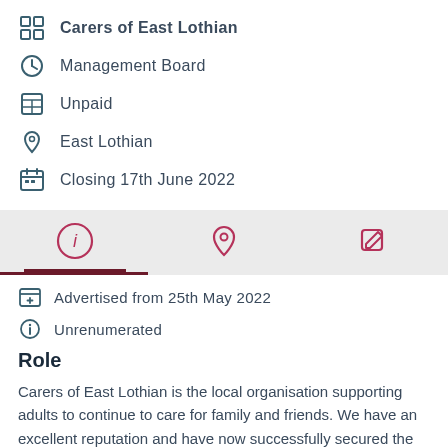Carers of East Lothian
Management Board
Unpaid
East Lothian
Closing 17th June 2022
[Figure (infographic): Tab bar with three icons: info (i) circle (active, with underline), map pin, and edit/pencil icon]
Advertised from 25th May 2022
Unrenumerated
Role
Carers of East Lothian is the local organisation supporting adults to continue to care for family and friends. We have an excellent reputation and have now successfully secured the contract to deliver adult carer services across East Lothian until June 2023. We are therefore now looking to